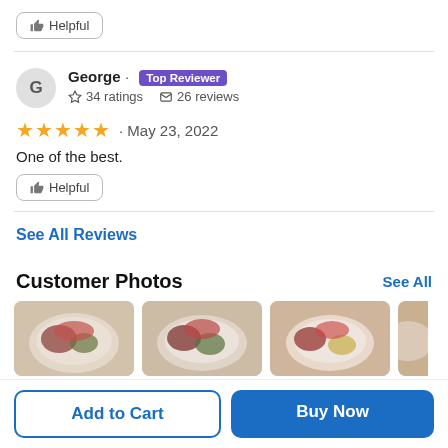Helpful (button)
George · Top Reviewer
☆ 34 ratings  ☐ 26 reviews
★★★★★ · May 23, 2022
One of the best.
Helpful (button)
See All Reviews
Customer Photos
See All
[Figure (photo): Three food plate photos partially visible at the bottom of the page]
Add to Cart
Buy Now